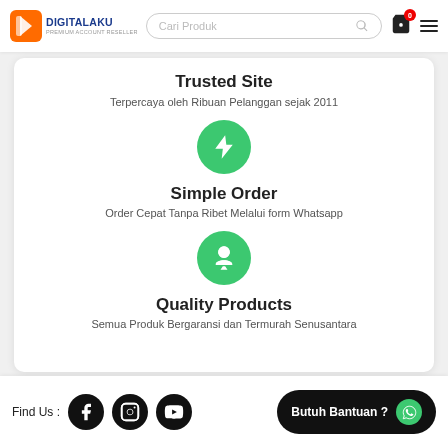DIGITALAKU PREMIUM ACCOUNT RESELLER — Cari Produk search bar and navigation icons
Trusted Site
Terpercaya oleh Ribuan Pelanggan sejak 2011
[Figure (illustration): Green circle with white lightning bolt icon representing Simple Order feature]
Simple Order
Order Cepat Tanpa Ribet Melalui form Whatsapp
[Figure (illustration): Green circle with white ribbon/award icon representing Quality Products feature]
Quality Products
Semua Produk Bergaransi dan Termurah Senusantara
Find Us : [Facebook] [Instagram] [YouTube] | Butuh Bantuan? [WhatsApp]